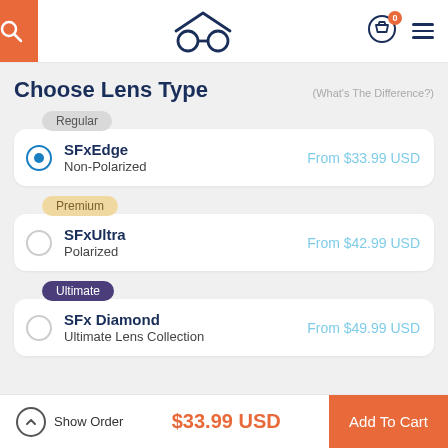Header navigation with search, logo (glasses icon), cart (0 items), and menu
Choose Lens Type
(What's The Difference?)
Regular — SFxEdge, Non-Polarized — From $33.99 USD (selected)
Premium — SFxUltra, Polarized — From $42.99 USD
Ultimate — SFx Diamond, Ultimate Lens Collection — From $49.99 USD
Show Order | $33.99 USD | Add To Cart